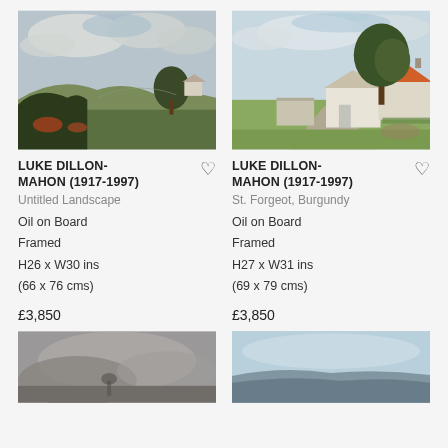[Figure (photo): Oil painting of an untitled landscape with green rolling hills, trees, cloudy sky, and a distant building]
LUKE DILLON-MAHON (1917-1997)
Untitled Landscape
Oil on Board
Framed
H26 x W30 ins
(66 x 76 cms)
£3,850
[Figure (photo): Oil painting of St. Forgeot, Burgundy: a rural road with white farmhouses and an orange-roofed building, large green tree in background]
LUKE DILLON-MAHON (1917-1997)
St. Forgeot, Burgundy
Oil on Board
Framed
H27 x W31 ins
(69 x 79 cms)
£3,850
[Figure (photo): Partial view of a grey-toned oil painting, bottom of page]
[Figure (photo): Partial view of a landscape painting with blue sky and mountains, bottom of page]